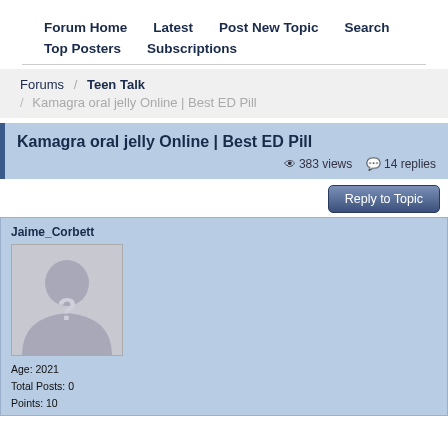Forum Home  Latest  Post New Topic  Search  Top Posters  Subscriptions
Forums / Teen Talk / Kamagra oral jelly Online | Best ED Pill
Kamagra oral jelly Online | Best ED Pill
383 views  14 replies
Reply to Topic
Jaime_Corbett
[Figure (illustration): Default user avatar silhouette with question mark]
Age: 2021
Total Posts: 0
Points: 10